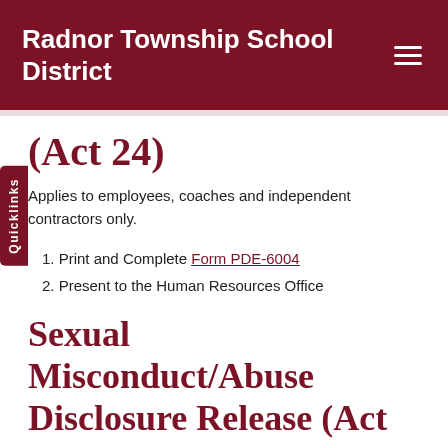Radnor Township School District
(Act 24)
Applies to employees, coaches and independent contractors only.
1. Print and Complete Form PDE-6004
2. Present to the Human Resources Office
Sexual Misconduct/Abuse Disclosure Release (Act 168)